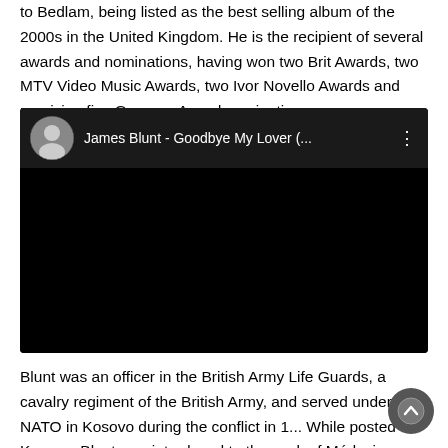to Bedlam, being listed as the best selling album of the 2000s in the United Kingdom. He is the recipient of several awards and nominations, having won two Brit Awards, two MTV Video Music Awards, two Ivor Novello Awards and receiving five Grammy Award nominations.
[Figure (screenshot): YouTube video embed showing James Blunt - Goodbye My Lover (... with a circular avatar of James Blunt on the left, white title text, and three-dot menu icon. The video area below is black.]
Blunt was an officer in the British Army Life Guards, a cavalry regiment of the British Army, and served under NATO in Kosovo during the conflict in 1... While posted to Kosovo, Blunt was introduced to the work of Médecins